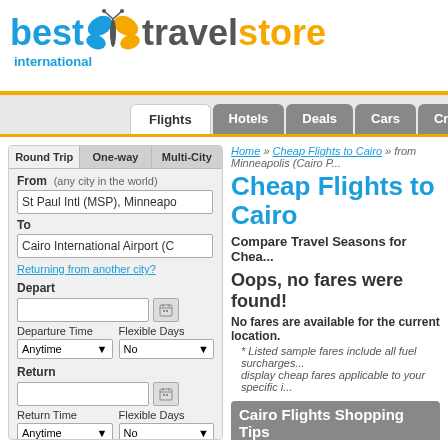[Figure (logo): Best Travel Store International logo with butterfly graphic]
Flights | Hotels | Deals | Cars | Cruis...
Home » Cheap Flights to Cairo » from Minneapolis (Cairo P...
Cheap Flights to Cairo
Compare Travel Seasons for Chea...
Oops, no fares were found!
No fares are available for the current location.
* Listed sample fares include all fuel surcharges... display cheap fares applicable to your specific i...
Cairo Flights Shopping Tips
This fare display is useful for identifying general tr... available, and to provide you with insight on how a... you avoid searching for cheap flights with departu... though airlines might publish low fares for travel a... because airlines try to sell significantly more expe... the very last minute
Please use the Flights Search Form on the left to... for your specific travel dates. Use the Flex Days o... Cairo flights.
Round Trip | One-way | Multi-City
From (any city in the world)
St Paul Intl (MSP), Minneapo...
To
Cairo International Airport (C...
Returning from another city?
Depart
Departure Time: Anytime    Flexible Days: No
Return
Return Time: Anytime    Flexible Days: No
Number of passengers